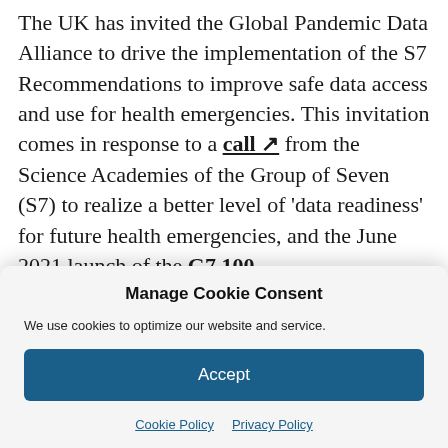The UK has invited the Global Pandemic Data Alliance to drive the implementation of the S7 Recommendations to improve safe data access and use for health emergencies. This invitation comes in response to a call ↗ from the Science Academies of the Group of Seven (S7) to realize a better level of 'data readiness' for future health emergencies, and the June 2021 launch of the G7 100
Manage Cookie Consent
We use cookies to optimize our website and service.
Accept
Cookie Policy   Privacy Policy